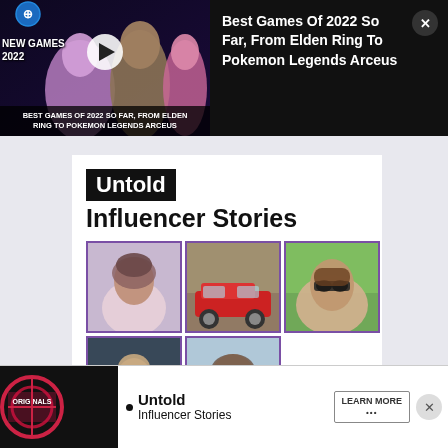[Figure (screenshot): Video thumbnail notification bar for 'Best Games Of 2022 So Far, From Elden Ring To Pokemon Legends Arceus' showing game characters on dark background with play button]
Best Games Of 2022 So Far, From Elden Ring To Pokemon Legends Arceus
[Figure (screenshot): Untold Influencer Stories content card showing 5 photos of influencers in a grid layout with purple-bordered thumbnails]
[Figure (screenshot): Bottom advertisement banner for Untold Influencer Stories with ORIGINALS logo and LEARN MORE button]